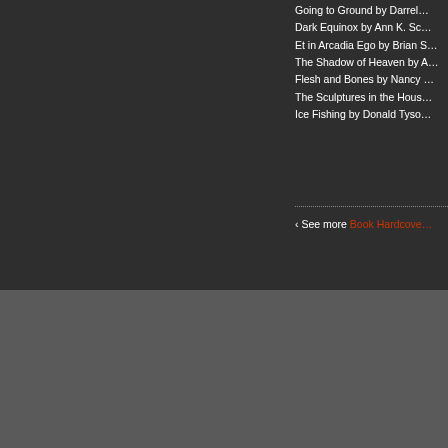Going to Ground by Darrel…
Dark Equinox by Ann K. Sc…
Et in Arcadia Ego by Brian S…
The Shadow of Heaven by A…
Flesh and Bones by Nancy …
The Sculptures in the Hous…
Ice Fishing by Donald Tyso…
‹ See more Book Hardcove…
Search | About Us | Copyright © 2022 Fedo…